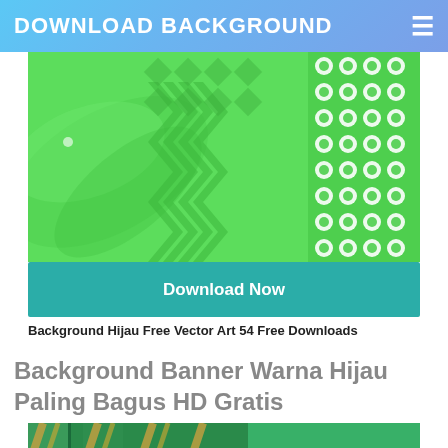DOWNLOAD BACKGROUND
[Figure (illustration): Green abstract vector art backgrounds showing three panels: left with swirling light green pattern, center with chevron/arrow pattern, right with polka dot grid pattern on green]
Download Now
Background Hijau Free Vector Art 54 Free Downloads
Background Banner Warna Hijau Paling Bagus HD Gratis
[Figure (illustration): Green banner background with diagonal stripe pattern and golden/yellow diagonal stripes on dark green, alongside a plain medium green panel]